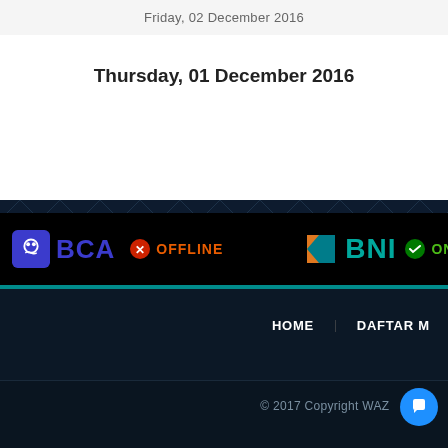Friday, 02 December 2016
Thursday, 01 December 2016
[Figure (screenshot): Bank status bar showing BCA bank logo with OFFLINE status in orange, and BNI bank logo with ONLINE status in green, on a black background]
HOME   DAFTAR M
© 2017 Copyright WAZ TC